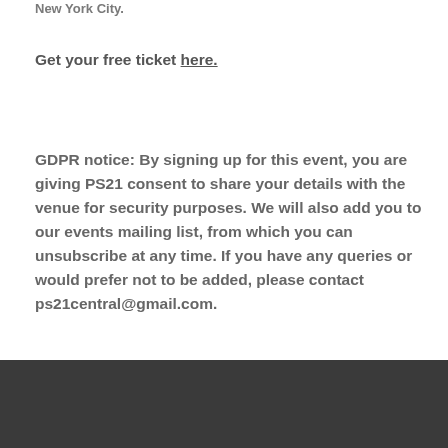New York City.
Get your free ticket here.
GDPR notice: By signing up for this event, you are giving PS21 consent to share your details with the venue for security purposes. We will also add you to our events mailing list, from which you can unsubscribe at any time. If you have any queries or would prefer not to be added, please contact ps21central@gmail.com.